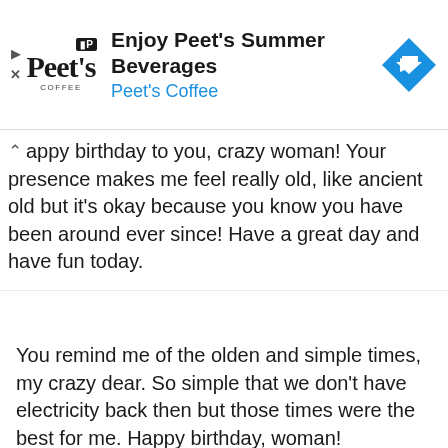[Figure (other): Peet's Coffee advertisement banner with logo, text 'Enjoy Peet's Summer Beverages / Peet's Coffee', and a blue diamond navigation arrow icon]
appy birthday to you, crazy woman! Your presence makes me feel really old, like ancient old but it's okay because you know you have been around ever since! Have a great day and have fun today.
You remind me of the olden and simple times, my crazy dear. So simple that we don't have electricity back then but those times were the best for me. Happy birthday, woman!
Hello to this old man who still acts and